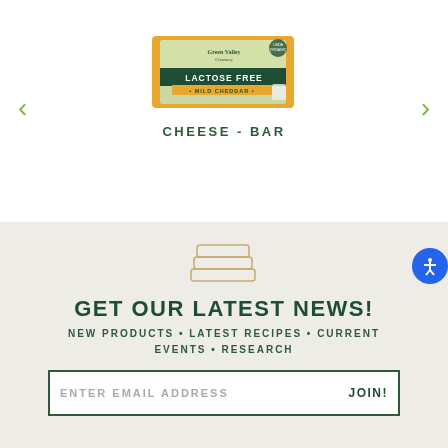[Figure (photo): Green Valley Creamery Lactose Free Mild Cheddar Cheese Bar product package, rectangular orange/yellow block with green and white label]
CHEESE - BAR
[Figure (illustration): Outline icon of a rectangular cheese block/bar]
GET OUR LATEST NEWS!
NEW PRODUCTS • LATEST RECIPES • CURRENT EVENTS • RESEARCH
ENTER EMAIL ADDRESS    JOIN!